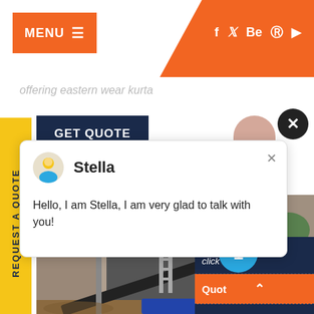MENU ☰  f  t  Be   pinterest  youtube
offering eastern wear kurta
GET QUOTE
REQUEST A QUOTE
Stella
Hello, I am Stella, I am very glad to talk with you!
[Figure (photo): Industrial mining/crushing machine with conveyor belt and large wheel mechanism, outdoor setting]
Have any  click here.
Quote
Enquiry
drobilkalm